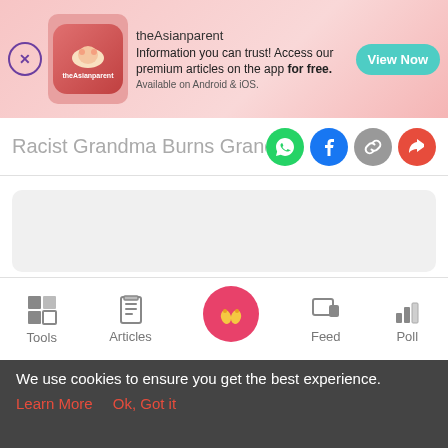[Figure (screenshot): theAsianparent app advertisement banner with logo, tagline 'Information you can trust! Access our premium articles on the app for free. Available on Android & iOS.' and 'View Now' button]
Racist Grandma Burns Granddaughter
[Figure (infographic): Social share icons: WhatsApp (green), Facebook (blue), copy link (gray), share (red)]
[Figure (other): Gray placeholder content block]
[Figure (other): Content card with gray placeholder inner block]
[Figure (infographic): Bottom navigation bar with Tools, Articles, home (baby feet icon), Feed, Poll icons]
We use cookies to ensure you get the best experience.
Learn More   Ok, Got it